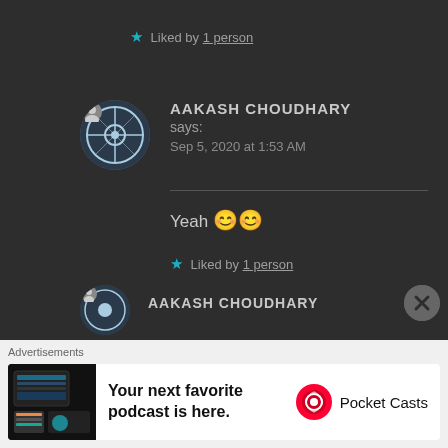★ Liked by 1 person
AAKASH CHOUDHARY says: Sep 5, 2020 at 1:53 AM
Yeah 😊😊
★ Liked by 1 person
AAKASH CHOUDHARY
Advertisements
[Figure (screenshot): Pocket Casts advertisement banner: 'Your next favorite podcast is here.' with Pocket Casts logo]